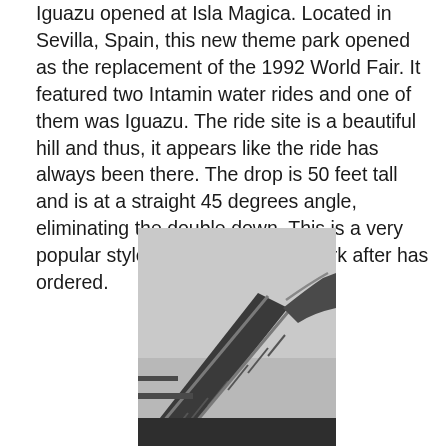Iguazu opened at Isla Magica. Located in Sevilla, Spain, this new theme park opened as the replacement of the 1992 World Fair. It featured two Intamin water rides and one of them was Iguazu. The ride site is a beautiful hill and thus, it appears like the ride has always been there. The drop is 50 feet tall and is at a straight 45 degrees angle, eliminating the double down. This is a very popular style and is what every park after has ordered.
[Figure (photo): A black and white / grayscale photo of a water ride structure at Isla Magica, showing a wooden or metal track/flume structure with railings against an overcast grey sky.]